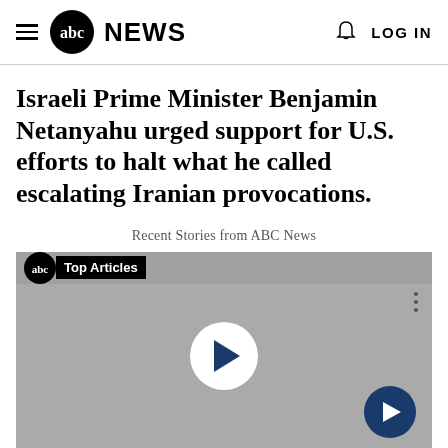ABC NEWS — LOG IN
Israeli Prime Minister Benjamin Netanyahu urged support for U.S. efforts to halt what he called escalating Iranian provocations.
Recent Stories from ABC News
[Figure (screenshot): ABC News video player with 'Top Articles' badge, play button in center, and navigation arrow button at bottom right. Background is gray.]